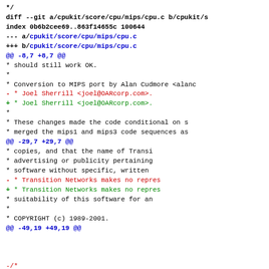*/
diff --git a/cpukit/score/cpu/mips/cpu.c b/cpukit/s
index 0b6b2cee69..863f14655c 100644
--- a/cpukit/score/cpu/mips/cpu.c
+++ b/cpukit/score/cpu/mips/cpu.c
@@ -8,7 +8,7 @@
    *      should still work OK.
    *
    *  Conversion to MIPS port by Alan Cudmore <alanc
-  *              Joel Sherrill <joel@OARcorp.com>.
+  *              Joel Sherrill <joel@OARcorp.com>.
    *
    *  These changes made the code conditional on s
    *  merged the mips1 and mips3 code sequences as
@@ -29,7 +29,7 @@
    *              copies, and that the name of Transi
    *              advertising or publicity pertaining
    *              software without specific, written
-  *              Transition Networks makes no repres
+  *              Transition Networks makes no repres
    *              suitability of this software for an
    *
    *  COPYRIGHT (c) 1989-2001.
@@ -49,19 +49,19 @@

-/*
-** Exception stack frame pointer used in cpu_asm t
+/*